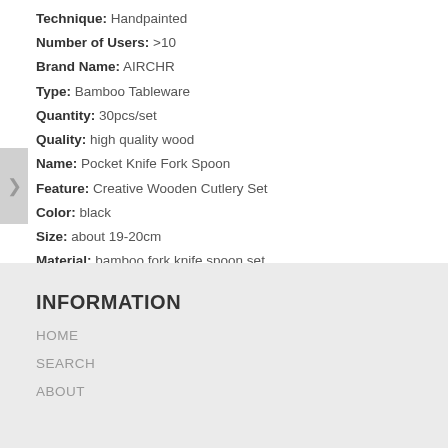Technique: Handpainted
Number of Users: >10
Brand Name: AIRCHR
Type: Bamboo Tableware
Quantity: 30pcs/set
Quality: high quality wood
Name: Pocket Knife Fork Spoon
Feature: Creative Wooden Cutlery Set
Color: black
Size: about 19-20cm
Material: bamboo fork knife spoon set
INFORMATION
HOME
SEARCH
ABOUT